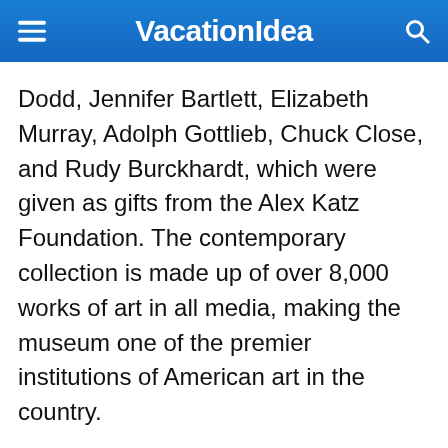VacationIdea
Dodd, Jennifer Bartlett, Elizabeth Murray, Adolph Gottlieb, Chuck Close, and Rudy Burckhardt, which were given as gifts from the Alex Katz Foundation. The contemporary collection is made up of over 8,000 works of art in all media, making the museum one of the premier institutions of American art in the country.
Alex Katz donated over 400 pieces of his artwork to the Colby Museum of Art in 1992. His works are now displayed in the Paul J. Schupf Wing, making the museum one of